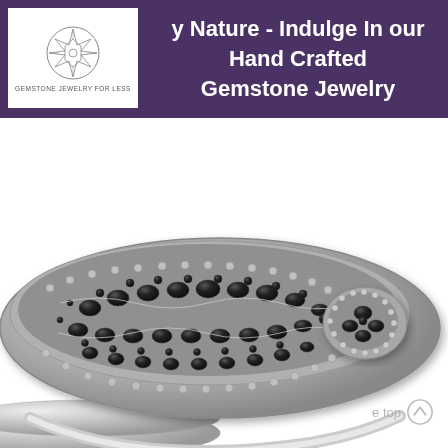[Figure (logo): Gemstone Jewelry For Less logo — geometric star/flower shape inside a circle with text 'GEMSTONE JEWELRY FOR LESS' below]
y Nature - Indulge In our Hand Crafted Gemstone Jewelry
[Figure (photo): Close-up photo of a sterling silver ring heavily encrusted with marcasite gemstones in an ornate, lacy filigree pattern. The band is plain silver and the top is wide with layered oval sections covered in dark faceted marcasite stones.]
e top